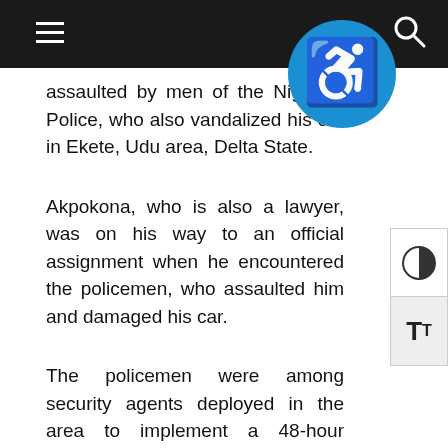assaulted by men of the Nigerian Police, who also vandalized his car in Ekete, Udu area, Delta State.
[Figure (illustration): Blue circular accessibility icon (wheelchair symbol)]
Akpokona, who is also a lawyer, was on his way to an official assignment when he encountered the policemen, who assaulted him and damaged his car.
The policemen were among security agents deployed in the area to implement a 48-hour curfew imposed by the state governor, Senator IfeanyiOkowa, as part of measures to checkmate the rampaging activities of hoodlums, who hijacked the #EndSARS protests in parts of the state.